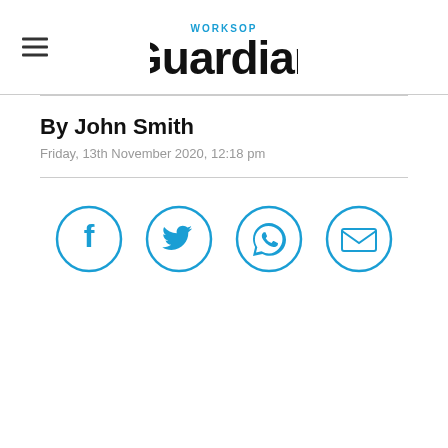Worksop Guardian
By John Smith
Friday, 13th November 2020, 12:18 pm
[Figure (infographic): Four social sharing icon buttons in a row: Facebook, Twitter, WhatsApp, Email — each in a blue circle outline with a blue icon inside]